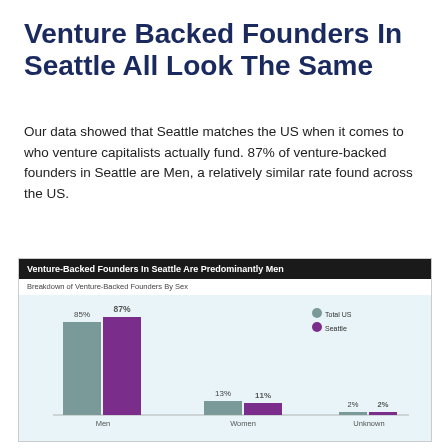Venture Backed Founders In Seattle All Look The Same
Our data showed that Seattle matches the US when it comes to who venture capitalists actually fund. 87% of venture-backed founders in Seattle are Men, a relatively similar rate found across the US.
[Figure (grouped-bar-chart): Venture-Backed Founders In Seattle Are Predominantly Men]